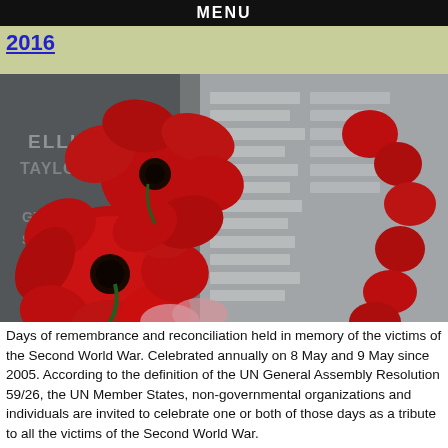MENU
2016
[Figure (photo): Red poppy flowers laid against a war memorial wall with engraved names of soldiers, including 'ELLIS' visible. The poppies are bright red with black centers and are placed as a tribute along the memorial.]
Days of remembrance and reconciliation held in memory of the victims of the Second World War. Celebrated annually on 8 May and 9 May since 2005. According to the definition of the UN General Assembly Resolution 59/26, the UN Member States, non-governmental organizations and individuals are invited to celebrate one or both of those days as a tribute to all the victims of the Second World War.